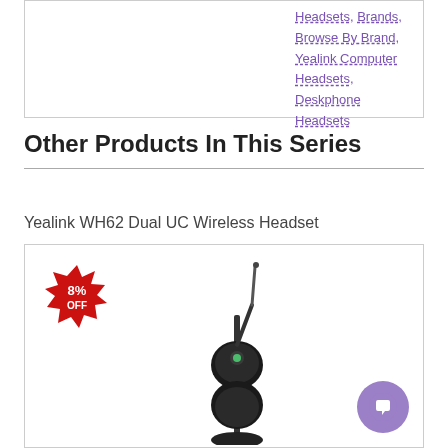Headsets, Brands, Browse By Brand, Yealink Computer Headsets, Deskphone Headsets
Other Products In This Series
Yealink WH62 Dual UC Wireless Headset
[Figure (photo): Yealink WH62 Dual UC Wireless Headset product image with 8% OFF badge in red starburst, showing a dual-ear wireless headset on a charging stand with a green LED indicator and a boom microphone.]